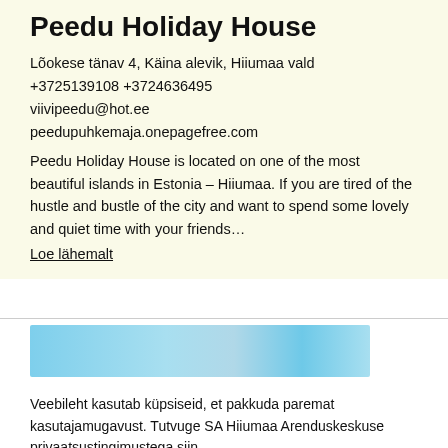Peedu Holiday House
Lõokese tänav 4, Käina alevik, Hiiumaa vald
+3725139108 +3724636495
viivipeedu@hot.ee
peedupuhkemaja.onepagefree.com
Peedu Holiday House is located on one of the most beautiful islands in Estonia – Hiiumaa. If you are tired of the hustle and bustle of the city and want to spend some lovely and quiet time with your friends…
Loe lähemalt
[Figure (photo): Partially visible image strip showing a scenic outdoor or landscape photo in blue tones]
Veebileht kasutab küpsiseid, et pakkuda paremat kasutajamugavust. Tutvuge SA Hiiumaa Arenduskeskuse privaatsustingimustega siin.
LUBA